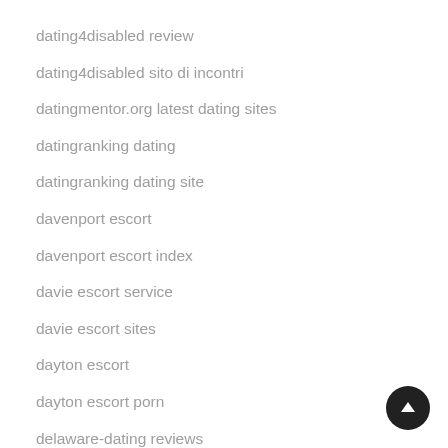dating4disabled review
dating4disabled sito di incontri
datingmentor.org latest dating sites
datingranking dating
datingranking dating site
davenport escort
davenport escort index
davie escort service
davie escort sites
dayton escort
dayton escort porn
delaware-dating reviews
dentist-dating review